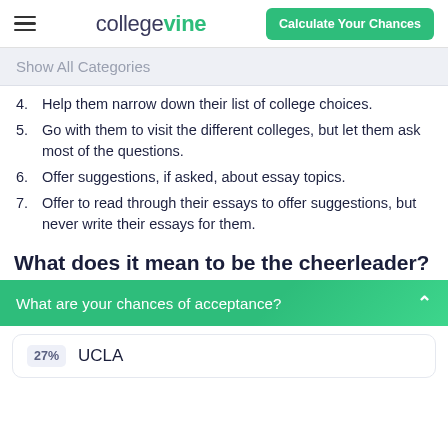collegevine | Calculate Your Chances
Show All Categories
4. Help them narrow down their list of college choices.
5. Go with them to visit the different colleges, but let them ask most of the questions.
6. Offer suggestions, if asked, about essay topics.
7. Offer to read through their essays to offer suggestions, but never write their essays for them.
What does it mean to be the cheerleader?
What are your chances of acceptance?
27% UCLA